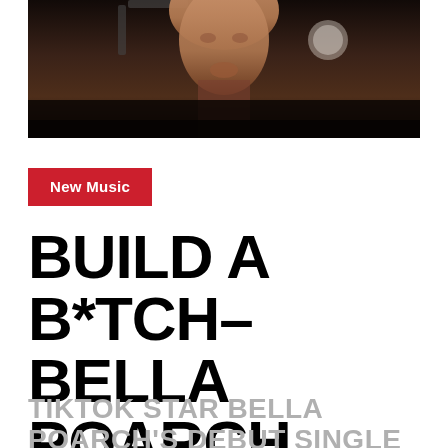[Figure (photo): Dark cinematic photo showing a person's face (lower portion visible) against a dark background with objects in the foreground]
New Music
BUILD A B*TCH– BELLA POARCH
TIKTOK STAR BELLA POARCH'S DEBUT SINGLE